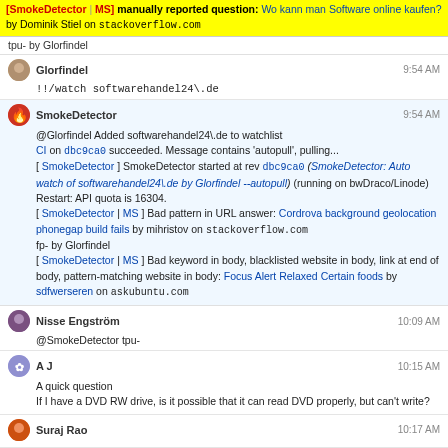[manually reported question: Wo kann man Software online kaufen? by Dominik Stiel on stackoverflow.com
tpu- by Glorfindel
Glorfindel 9:54 AM
!!/watch softwarehandel24\.de
SmokeDetector 9:54 AM
@Glorfindel Added softwarehandel24\.de to watchlist
CI on dbc9ca0 succeeded. Message contains 'autopull', pulling...
[ SmokeDetector ] SmokeDetector started at rev dbc9ca0 (SmokeDetector: Auto watch of softwarehandel24\.de by Glorfindel --autopull) (running on bwDraco/Linode)
Restart: API quota is 16304.
[ SmokeDetector | MS ] Bad pattern in URL answer: Cordrova background geolocation phonegap build fails by mihristov on stackoverflow.com
fp- by Glorfindel
[ SmokeDetector | MS ] Bad keyword in body, blacklisted website in body, link at end of body, pattern-matching website in body: Focus Alert Relaxed Certain foods by sdfwerseren on askubuntu.com
Nisse Engström 10:09 AM
@SmokeDetector tpu-
A J 10:15 AM
A quick question
If I have a DVD RW drive, is it possible that it can read DVD properly, but can't write?
Suraj Rao 10:17 AM